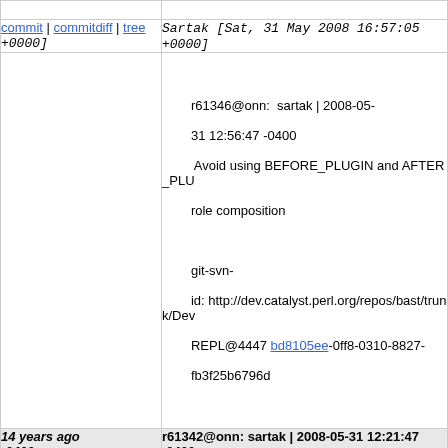| commit | commitdiff | tree | Sartak [Sat, 31 May 2008 16:57:05 +0000] |
|  | r61346@onn: sartak | 2008-05-31 12:56:47 -0400
Avoid using BEFORE_PLUGIN and AFTER_PLU role composition

git-svn-id: http://dev.catalyst.perl.org/repos/bast/trunk/Dev REPL@4447 bd8105ee-0ff8-0310-8827-fb3f25b6796d |
| 14 years ago -0400 | r61342@onn: sartak | 2008-05-31 12:21:47 -0400 |
| commit | commitdiff | tree | Sartak [Sat, 31 May 2008 16:23:06 +0000] |
|  | r61342@onn: sartak | 2008-05-31 12:21:47 -0400
Use Devel::REPL::Plugin instead of Moose::Role

git-svn-id: http://dev.catalyst.perl.org/repos/bast/trunk/Dev REPL@4446 bd8105ee-0ff8-0310-8827-fb3f25b6796d |